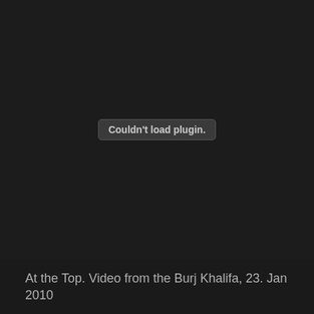[Figure (screenshot): Dark video embed area showing a 'Couldn't load plugin.' error message in a rounded rectangle button, centered on a near-black background.]
At the Top. Video from the Burj Khalifa, 23. Jan 2010